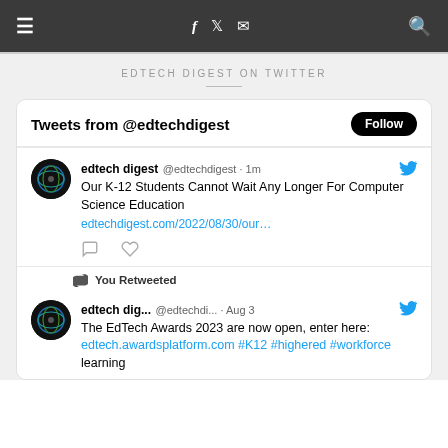≡  f  🐦  ✉  🔍
EDTECH DIGEST ON TWITTER
[Figure (screenshot): Twitter widget showing tweets from @edtechdigest. First tweet: 'Our K-12 Students Cannot Wait Any Longer For Computer Science Education edtechdigest.com/2022/08/30/our...' Second tweet is a retweet: 'The EdTech Awards 2023 are now open, enter here: edtech.awardsplatform.com #K12 #highered #workforce learning']
Tweets from @edtechdigest
edtech digest @edtechdigest · 1m Our K-12 Students Cannot Wait Any Longer For Computer Science Education edtechdigest.com/2022/08/30/our…
You Retweeted
edtech dig... @edtechdi... · Aug 3 The EdTech Awards 2023 are now open, enter here: edtech.awardsplatform.com #K12 #highered #workforce learning